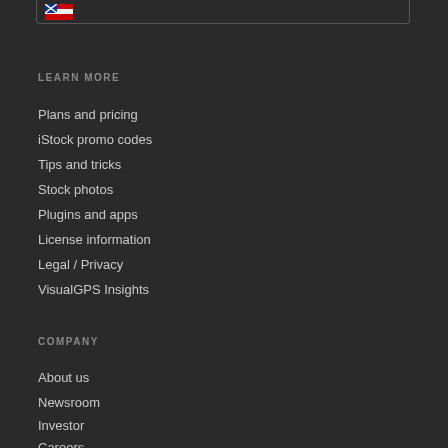[Figure (other): Flag icon inside a bordered box at the top of the page]
LEARN MORE
Plans and pricing
iStock promo codes
Tips and tricks
Stock photos
Plugins and apps
License information
Legal / Privacy
VisualGPS Insights
COMPANY
About us
Newsroom
Investor
Careers